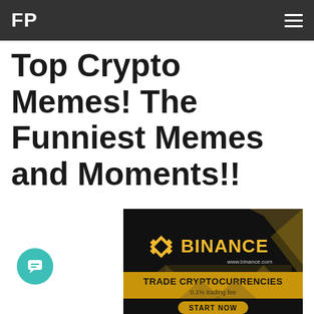FP
Top Crypto Memes! The Funniest Memes and Moments!!
[Figure (illustration): Binance cryptocurrency exchange advertisement with dark background, gold diamond logo, BINANCE text in gold, www.binance.com URL, 'TRADE CRYPTOCURRENCIES' headline, '0.1% trading fee' subtext, and 'START NOW' gold button at bottom.]